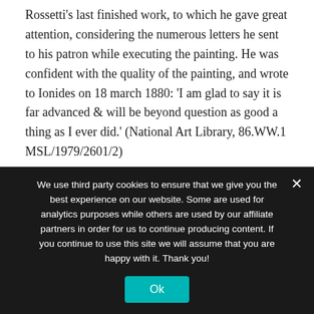Rossetti's last finished work, to which he gave great attention, considering the numerous letters he sent to his patron while executing the painting. He was confident with the quality of the painting, and wrote to Ionides on 18 march 1880: 'I am glad to say it is far advanced & will be beyond question as good a thing as I ever did.' (National Art Library, 86.WW.1 MSL/1979/2601/2)

Rossetti was very directive concerning the way the work should be exhibited in Ionides' home: 'The picture itself need
We use third party cookies to ensure that we give you the best experience on our website. Some are used for analytics purposes while others are used by our affiliate partners in order for us to continue producing content. If you continue to use this site we will assume that you are happy with it. Thank you!